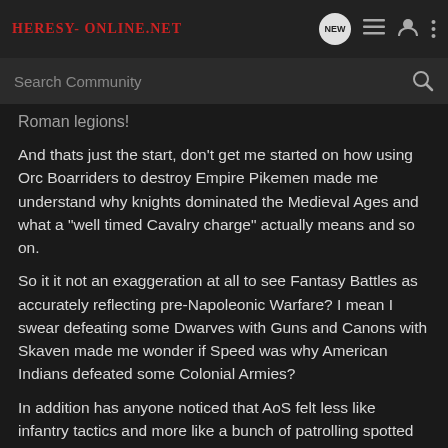Heresy-Online.net
Search Community
Roman legions!
And thats just the start, don't get me started on how using Orc Boarriders to destroy Empire Pikemen made me understand why knights dominated the Medieval Ages and what a "well timed Cavalry charge" actually means and so on.
So it it not an exaggeration at all to see Fantasy Battles as accurately reflecting pre-Napoleonic Warfare? I mean I swear defeating some Dwarves with Guns and Canons with Skaven made me wonder if Speed was why American Indians defeated some Colonial Armies?
In addition has anyone noticed that AoS felt less like infantry tactics and more like a bunch of patrolling spotted enemies and